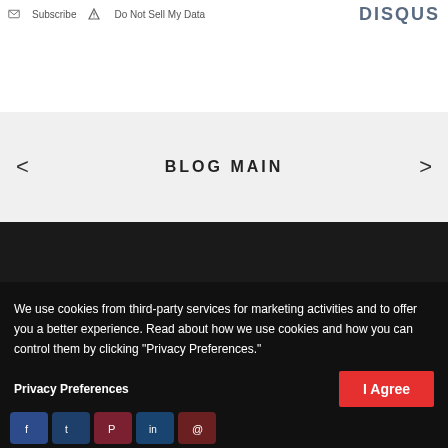Subscribe  Do Not Sell My Data   DISQUS
BLOG MAIN
We use cookies from third-party services for marketing activities and to offer you a better experience. Read about how we use cookies and how you can control them by clicking "Privacy Preferences."
Privacy Preferences
I Agree